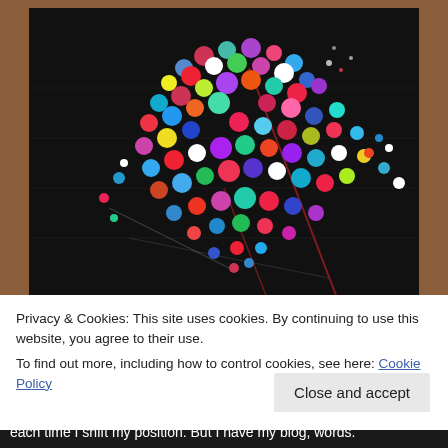[Figure (illustration): Colorful painted polka dots forming a heart shape on a dark/black background with paint splatter effects. The dots are multicolored: blue, green, red, pink, yellow, purple, white, black. The artwork is displayed in a dark frame against a brown background.]
Privacy & Cookies: This site uses cookies. By continuing to use this website, you agree to their use.
To find out more, including how to control cookies, see here: Cookie Policy
Close and accept
each time I shift my position. But I have my blog, words.